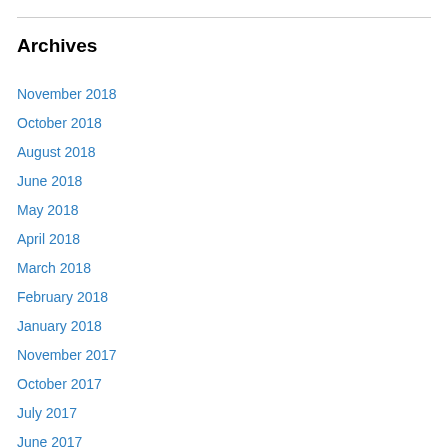Archives
November 2018
October 2018
August 2018
June 2018
May 2018
April 2018
March 2018
February 2018
January 2018
November 2017
October 2017
July 2017
June 2017
May 2017
April 2017
March 2017